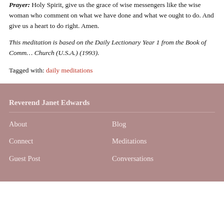Prayer: Holy Spirit, give us the grace of wise messengers like the wise woman who comment on what we have done and what we ought to do. And give us a heart to do right. Amen.
This meditation is based on the Daily Lectionary Year 1 from the Book of Common Worship, Presbyterian Church (U.S.A.) (1993).
Tagged with: daily meditations
Reverend Janet Edwards
About
Blog
Connect
Meditations
Guest Post
Conversations